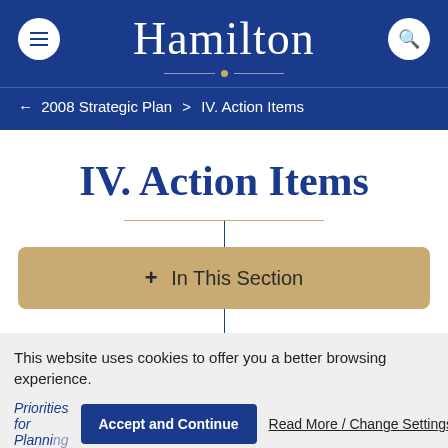Hamilton
← 2008 Strategic Plan > IV. Action Items
IV. Action Items
+ In This Section
This website uses cookies to offer you a better browsing experience.
Accept and Continue | Read More / Change Settings